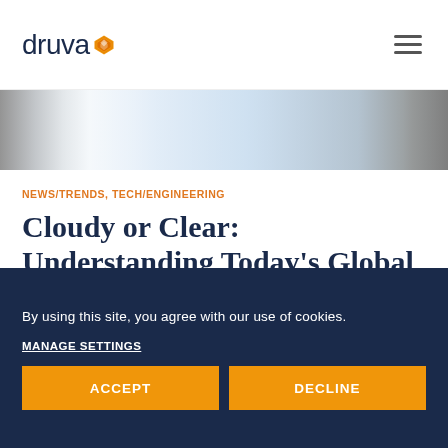[Figure (logo): Druva logo with orange diamond/arrow icon and wordmark 'druva' in dark navy]
[Figure (photo): Website hero image strip showing a blurred background with people or data center]
NEWS/TRENDS, TECH/ENGINEERING
Cloudy or Clear: Understanding Today’s Global Privacy Requirements for Data Protection in the Cloud
By using this site, you agree with our use of cookies.
MANAGE SETTINGS
ACCEPT
DECLINE